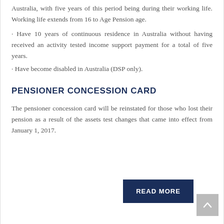Australia, with five years of this period being during their working life. Working life extends from 16 to Age Pension age.
• Have 10 years of continuous residence in Australia without having received an activity tested income support payment for a total of five years.
• Have become disabled in Australia (DSP only).
PENSIONER CONCESSION CARD
The pensioner concession card will be reinstated for those who lost their pension as a result of the assets test changes that came into effect from January 1, 2017.